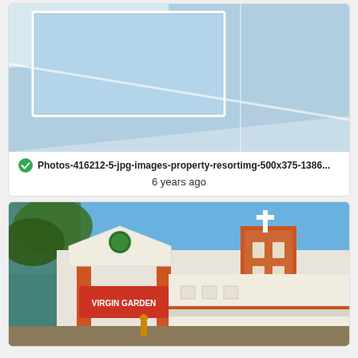[Figure (photo): Swimming pool photograph showing a light blue tiled pool with white/light grey surround/deck, viewed from an angle.]
Photos-416212-5-jpg-images-property-resortimg-500x375-1386...
6 years ago
[Figure (photo): Photograph of a building entrance gate with sign reading 'Virgin Garden', orange pillars, and a church tower with a cross visible in the background. Blue sky.]